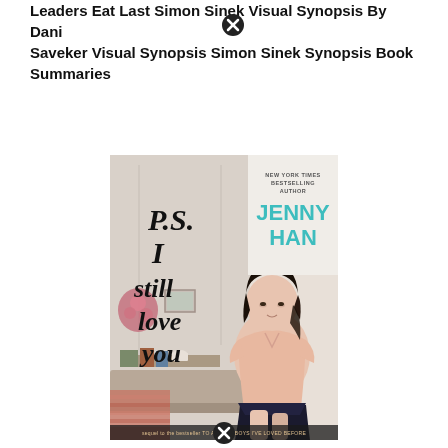Leaders Eat Last Simon Sinek Visual Synopsis By Dani Saveker Visual Synopsis Simon Sinek Synopsis Book Summaries
[Figure (illustration): Book cover of 'P.S. I Still Love You' by Jenny Han. The cover shows hand-lettered script text on the left reading 'P.S. I still love you' in black ink, and on the right a young woman with dark hair wearing a light pink top and dark skirt sitting against a light background. Above the author name in teal text it reads 'NEW YORK TIMES BESTSELLING AUTHOR'. The author name 'JENNY HAN' is in large teal text. At the bottom it reads 'sequel to the bestseller TO ALL THE BOYS I'VE LOVED BEFORE'.]